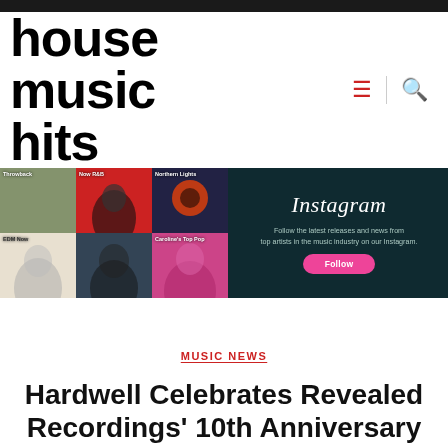[Figure (logo): House Music Hits logo in large bold black lowercase text]
[Figure (infographic): Instagram promotional banner with music genre grid thumbnails and Follow button]
MUSIC NEWS
Hardwell Celebrates Revealed Recordings' 10th Anniversary in Amsterdam